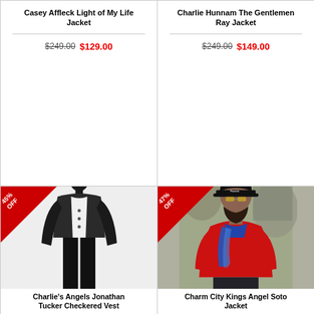Casey Affleck Light of My Life Jacket
$249.00 $129.00
Charlie Hunnam The Gentlemen Ray Jacket
$249.00 $149.00
[Figure (photo): Black mannequin wearing a dark checkered vest over white shirt with 45% OFF badge]
Charlie's Angels Jonathan Tucker Checkered Vest
[Figure (photo): Man wearing red jacket with blue scarf and cap on city street with 47% OFF badge]
Charm City Kings Angel Soto Jacket